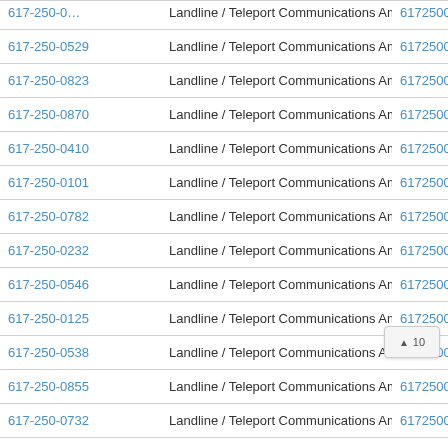| Phone | Type | Number |
| --- | --- | --- |
| 617-250-0529 | Landline / Teleport Communications America | 6172500529 |
| 617-250-0823 | Landline / Teleport Communications America | 6172500823 |
| 617-250-0870 | Landline / Teleport Communications America | 6172500870 |
| 617-250-0410 | Landline / Teleport Communications America | 6172500410 |
| 617-250-0101 | Landline / Teleport Communications America | 6172500101 |
| 617-250-0782 | Landline / Teleport Communications America | 6172500782 |
| 617-250-0232 | Landline / Teleport Communications America | 6172500232 |
| 617-250-0546 | Landline / Teleport Communications America | 6172500546 |
| 617-250-0125 | Landline / Teleport Communications America | 6172500125 |
| 617-250-0538 | Landline / Teleport Communications America | 6172500538 |
| 617-250-0855 | Landline / Teleport Communications America | 6172500855 |
| 617-250-0732 | Landline / Teleport Communications America | 6172500732 |
| 617-250-0182 | Landline / Teleport Communications America | 6172500182 |
| 617-250-0831 | Landline / Teleport Communications America | 6172500831 |
| 617-250-0610 | Landline / Teleport Communications America | 617250061… |
| 617-250-0449 | Landline / Teleport Communications America | 617250044… |
| 617-250-0352 | Landline / Teleport Communications America | 6172500352 |
| 617-250-0029 | Landline / Teleport Communications America | 6172500029 |